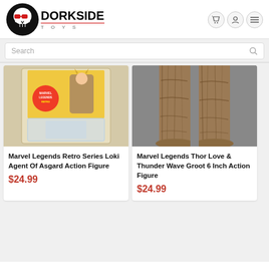[Figure (logo): Dorkside Toys logo with skull wearing red glasses and bold black text]
Search
[Figure (photo): Marvel Legends Retro Series Loki Agent Of Asgard Action Figure product image - toy in blister pack]
Marvel Legends Retro Series Loki Agent Of Asgard Action Figure
$24.99
[Figure (photo): Marvel Legends Thor Love & Thunder Wave Groot 6 Inch Action Figure product image - legs and feet of large Groot figure]
Marvel Legends Thor Love & Thunder Wave Groot 6 Inch Action Figure
$24.99